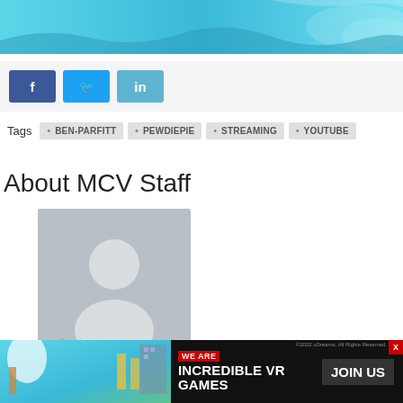[Figure (illustration): Banner image with ocean/water scene in blue tones at the top of the page]
[Figure (infographic): Social media share buttons: Facebook (f), Twitter (bird icon), LinkedIn (in)]
Tags  BEN-PARFITT  PEWDIEPIE  STREAMING  YOUTUBE
About MCV Staff
[Figure (photo): Default grey avatar/profile placeholder image with silhouette of person]
Previous
Riot Games is opening a London
[Figure (infographic): Ad banner: WE ARE INCREDIBLE VR GAMES - JOIN US, with colorful game scene background]